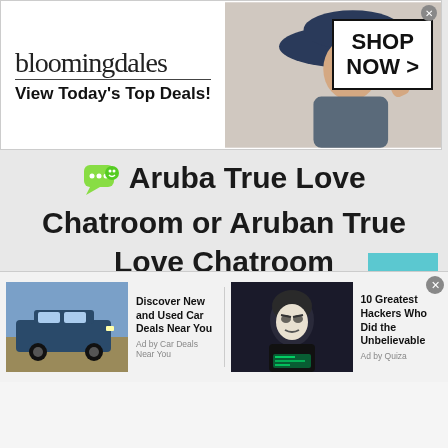[Figure (screenshot): Bloomingdale's advertisement banner: logo text 'bloomingdales', tagline 'View Today's Top Deals!', model in hat, 'SHOP NOW >' button box]
Aruba True Love Chatroom or Aruban True Love Chatroom
[Figure (screenshot): Scroll-to-top button (teal/cyan background with up chevron arrow)]
[Figure (screenshot): Bottom ad bar with two ad units: 'Discover New and Used Car Deals Near You' (Ad by Car Deals Near You) and '10 Greatest Hackers Who Did the Unbelievable' (Ad by Quiza)]